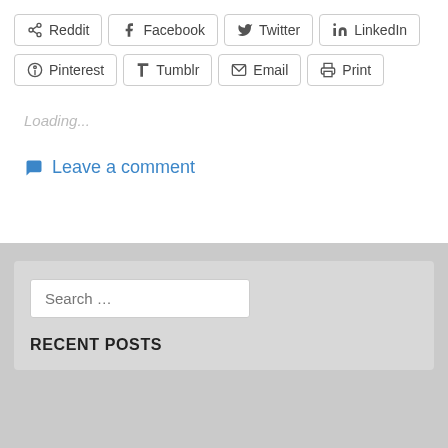Reddit  Facebook  Twitter  LinkedIn  Pinterest  Tumblr  Email  Print
Loading...
Leave a comment
Search ...
RECENT POSTS